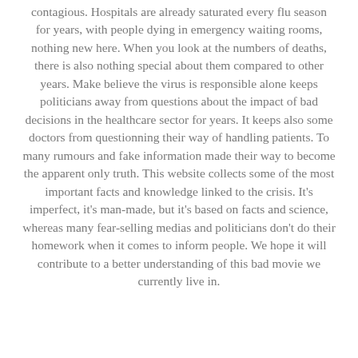contagious. Hospitals are already saturated every flu season for years, with people dying in emergency waiting rooms, nothing new here. When you look at the numbers of deaths, there is also nothing special about them compared to other years. Make believe the virus is responsible alone keeps politicians away from questions about the impact of bad decisions in the healthcare sector for years. It keeps also some doctors from questionning their way of handling patients. To many rumours and fake information made their way to become the apparent only truth. This website collects some of the most important facts and knowledge linked to the crisis. It's imperfect, it's man-made, but it's based on facts and science, whereas many fear-selling medias and politicians don't do their homework when it comes to inform people. We hope it will contribute to a better understanding of this bad movie we currently live in.